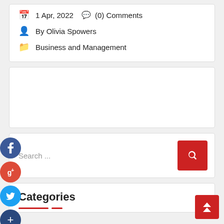1 Apr, 2022  (0) Comments
By Olivia Spowers
Business and Management
[Figure (other): White advertisement/content placeholder box]
[Figure (other): Social media floating buttons: Facebook, Google+, Twitter, Plus]
Search ...
Categories